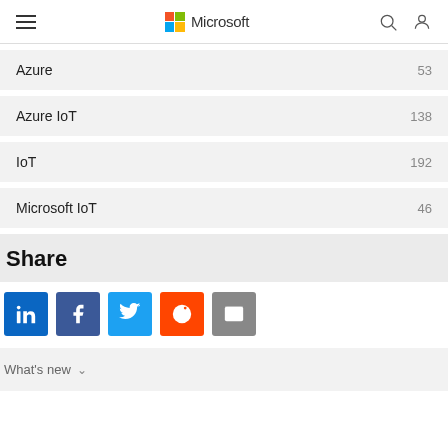Microsoft
Azure  53
Azure IoT  138
IoT  192
Microsoft IoT  46
Share
[Figure (infographic): Social share buttons: LinkedIn, Facebook, Twitter, Reddit, Email]
What's new